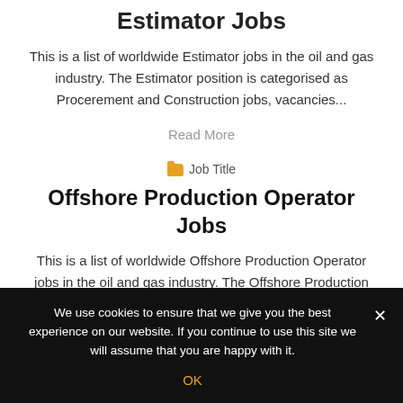Estimator Jobs
This is a list of worldwide Estimator jobs in the oil and gas industry. The Estimator position is categorised as Procerement and Construction jobs, vacancies...
Read More
Job Title
Offshore Production Operator Jobs
This is a list of worldwide Offshore Production Operator jobs in the oil and gas industry. The Offshore Production Operator position is categorised as
We use cookies to ensure that we give you the best experience on our website. If you continue to use this site we will assume that you are happy with it.
OK